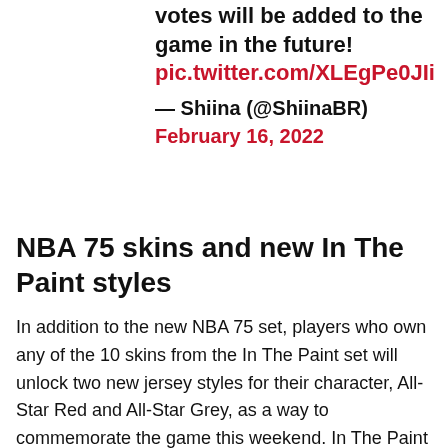votes will be added to the game in the future! pic.twitter.com/XLEgPe0JIi — Shiina (@ShiinaBR) February 16, 2022
NBA 75 skins and new In The Paint styles
In addition to the new NBA 75 set, players who own any of the 10 skins from the In The Paint set will unlock two new jersey styles for their character, All-Star Red and All-Star Grey, as a way to commemorate the game this weekend. In The Paint skins feature a customizable jersey that can sport any jersey number and any team style (go Celtics), which means the number of style options